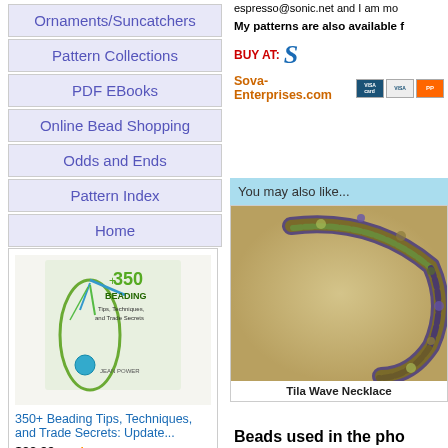Ornaments/Suncatchers
Pattern Collections
PDF EBooks
Online Bead Shopping
Odds and Ends
Pattern Index
Home
espresso@sonic.net and I am mo
My patterns are also available f
BUY AT:
Sova-Enterprises.com
You may also like...
[Figure (photo): Tila Wave Necklace photo showing beaded necklace with green, purple, and gold beads]
Tila Wave Necklace
[Figure (photo): Book cover: 350+ Beading Tips, Techniques, and Trade Secrets by Jean Power]
350+ Beading Tips, Techniques, and Trade Secrets: Update...
$22.99 ✓prime
Beads used in the pho